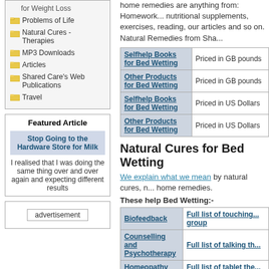for Weight Loss
Problems of Life
Natural Cures - Therapies
MP3 Downloads
Articles
Shared Care's Web Publications
Travel
Featured Article
Stop Going to the Hardware Store for Milk
I realised that I was doing the same thing over and over again and expecting different results
advertisement
Home remedies are anything from: homework...nutritional supplements, exercises, reading, our articles and so on. Natural Remedies from Sha...
| Product | Price |
| --- | --- |
| Selfhelp Books for Bed Wetting | Priced in GB pounds |
| Other Products for Bed Wetting | Priced in GB pounds |
| Selfhelp Books for Bed Wetting | Priced in US Dollars |
| Other Products for Bed Wetting | Priced in US Dollars |
Natural Cures for Bed Wetting
We explain what we mean by natural cures, n... home remedies.
These help Bed Wetting:-
| Therapy | Full list |
| --- | --- |
| Biofeedback | Full list of touching... group |
| Counselling and Psychotherapy | Full list of talking th... |
| Homeopathy | Full list of tablet the... |
| Osteopathy | Full list of touching... group |
Please also check out Approaches Individua... Practitioner for other therapies and treatmen...